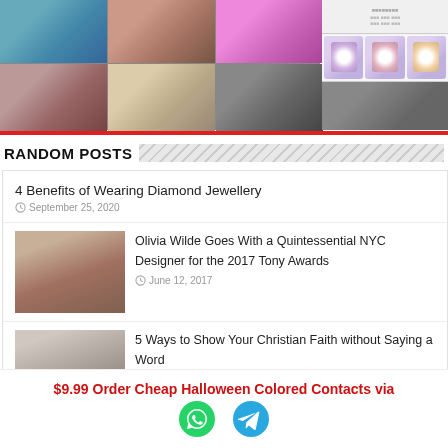[Figure (photo): Grid of celebrity/lifestyle photos in two rows, plus product thumbnails on right side]
RANDOM POSTS
4 Benefits of Wearing Diamond Jewellery
September 25, 2020
[Figure (photo): Photo of Olivia Wilde]
Olivia Wilde Goes With a Quintessential NYC Designer for the 2017 Tony Awards
June 12, 2017
[Figure (photo): Photo thumbnail for Christian Faith article]
5 Ways to Show Your Christian Faith without Saying a Word
$9.99 Order Cheap Halloween Colored Contacts via